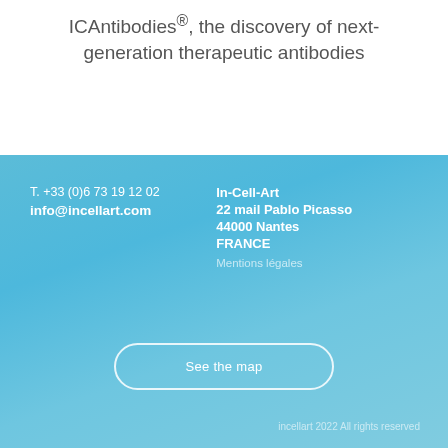ICAntibodies®, the discovery of next-generation therapeutic antibodies
T. +33 (0)6 73 19 12 02
info@incellart.com
In-Cell-Art
22 mail Pablo Picasso
44000 Nantes
FRANCE
Mentions légales
See the map
incellart 2022 All rights reserved